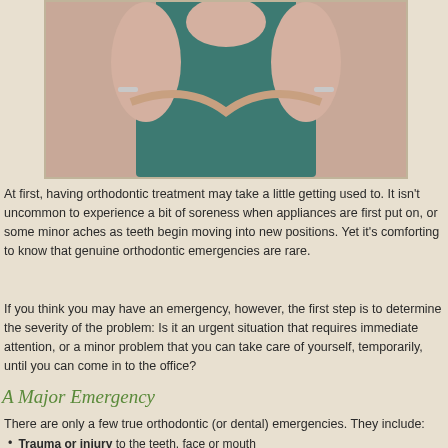[Figure (photo): Photo of a person in a teal/green top with arms crossed or raised, cropped to show torso and arms]
At first, having orthodontic treatment may take a little getting used to. It isn't uncommon to experience a bit of soreness when appliances are first put on, or some minor aches as teeth begin moving into new positions. Yet it's comforting to know that genuine orthodontic emergencies are rare.
If you think you may have an emergency, however, the first step is to determine the severity of the problem: Is it an urgent situation that requires immediate attention, or a minor problem that you can take care of yourself, temporarily, until you can come in to the office?
A Major Emergency
There are only a few true orthodontic (or dental) emergencies. They include:
Trauma or injury to the teeth, face or mouth